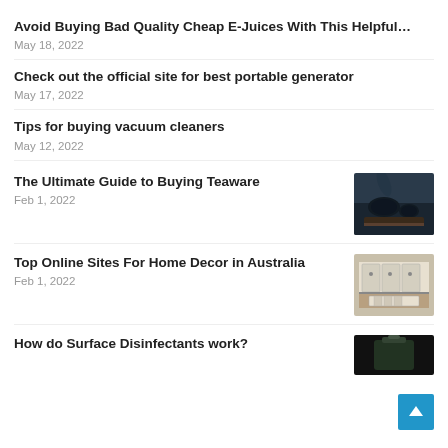Avoid Buying Bad Quality Cheap E-Juices With This Helpful…
May 18, 2022
Check out the official site for best portable generator
May 17, 2022
Tips for buying vacuum cleaners
May 12, 2022
The Ultimate Guide to Buying Teaware
Feb 1, 2022
[Figure (photo): Tea set on a wooden tray]
Top Online Sites For Home Decor in Australia
Feb 1, 2022
[Figure (photo): Kitchen interior with white cabinets]
How do Surface Disinfectants work?
[Figure (photo): Disinfectant product photo]